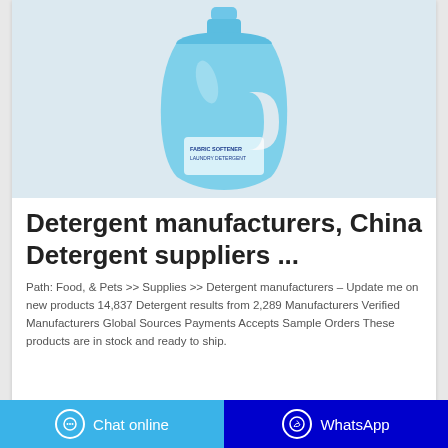[Figure (photo): Blue plastic laundry detergent bottle with a label on a light pinkish-grey background]
Detergent manufacturers, China Detergent suppliers ...
Path: Food, & Pets >> Supplies >> Detergent manufacturers – Update me on new products 14,837 Detergent results from 2,289 Manufacturers Verified Manufacturers Global Sources Payments Accepts Sample Orders These products are in stock and ready to ship.
Chat online | WhatsApp